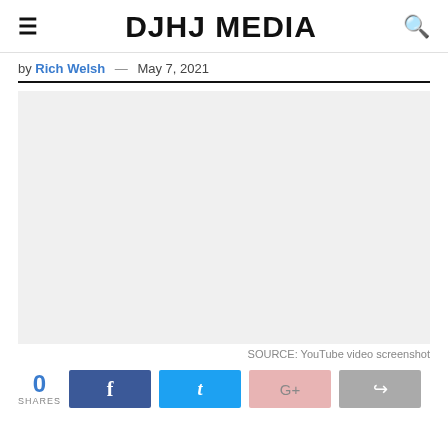≡  DJHJ MEDIA  🔍
by Rich Welsh  —  May 7, 2021
[Figure (screenshot): Light gray placeholder image area representing a YouTube video screenshot]
SOURCE: YouTube video screenshot
0 SHARES [Facebook share button] [Twitter share button] [Google+ share button] [Share button]